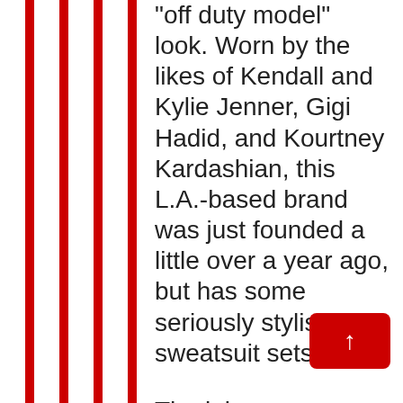[Figure (illustration): Red and white vertical stripes pattern occupying the left portion of the page]
"off duty model" look. Worn by the likes of Kendall and Kylie Jenner, Gigi Hadid, and Kourtney Kardashian, this L.A.-based brand was just founded a little over a year ago, but has some seriously stylish sweatsuit sets.
The labe[l is built] around s[ince] 2004 and offers